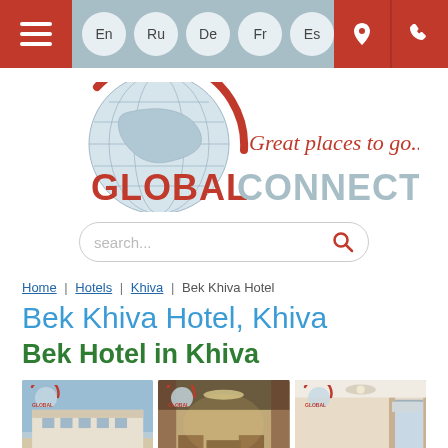Navigation bar with language options: En, Ru, De, Fr, Es and location/phone icons
[Figure (logo): Global Connect travel agency logo with globe graphic and tagline 'Great places to go...']
search...
Home | Hotels | Khiva | Bek Khiva Hotel
Bek Khiva Hotel, Khiva
Bek Hotel in Khiva
[Figure (photo): Photo of Bek Khiva Hotel exterior facade]
[Figure (photo): Photo of hotel interior restaurant/dining area]
[Figure (photo): Photo of hotel room interior]